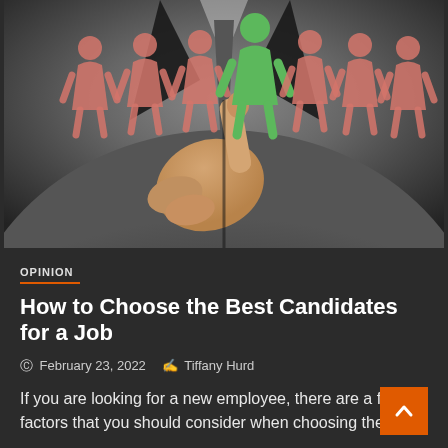[Figure (photo): A person in a business suit pointing with their index finger at a green human figure icon among a row of red/pink human figure icons, representing candidate selection for a job.]
OPINION
How to Choose the Best Candidates for a Job
February 23, 2022   Tiffany Hurd
If you are looking for a new employee, there are a few factors that you should consider when choosing the...